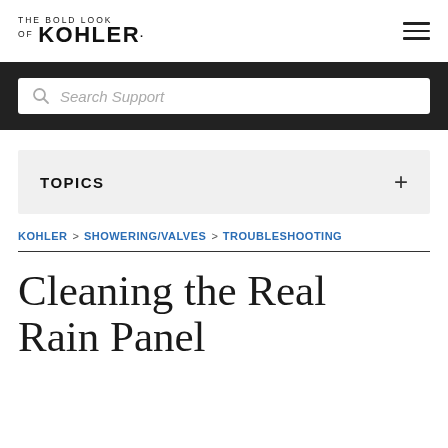THE BOLD LOOK OF KOHLER.
[Figure (screenshot): Search Support input field with magnifying glass icon on dark background]
TOPICS +
KOHLER > SHOWERING/VALVES > TROUBLESHOOTING
Cleaning the Real Rain Panel